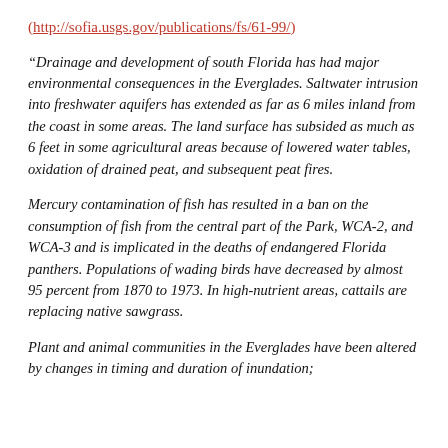(http://sofia.usgs.gov/publications/fs/61-99/)
“Drainage and development of south Florida has had major environmental consequences in the Everglades. Saltwater intrusion into freshwater aquifers has extended as far as 6 miles inland from the coast in some areas. The land surface has subsided as much as 6 feet in some agricultural areas because of lowered water tables, oxidation of drained peat, and subsequent peat fires.
Mercury contamination of fish has resulted in a ban on the consumption of fish from the central part of the Park, WCA-2, and WCA-3 and is implicated in the deaths of endangered Florida panthers. Populations of wading birds have decreased by almost 95 percent from 1870 to 1973. In high-nutrient areas, cattails are replacing native sawgrass.
Plant and animal communities in the Everglades have been altered by changes in timing and duration of inundation;